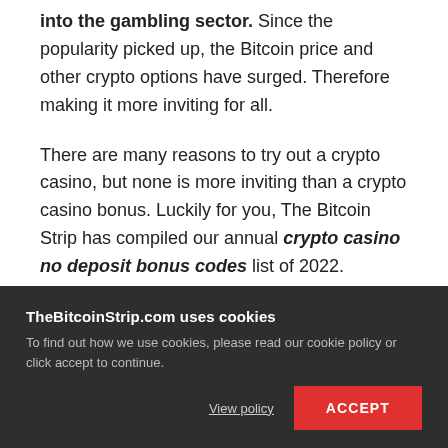into the gambling sector. Since the popularity picked up, the Bitcoin price and other crypto options have surged. Therefore making it more inviting for all.
There are many reasons to try out a crypto casino, but none is more inviting than a crypto casino bonus. Luckily for you, The Bitcoin Strip has compiled our annual crypto casino no deposit bonus codes list of 2022.
What Makes A Crypto Casino...
A crypto casino bonus is a broad...
TheBitcoinStrip.com uses cookies
To find out how we use cookies, please read our cookie policy or click accept to continue.